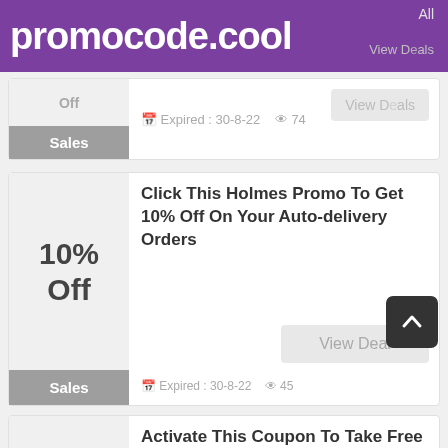promocode.cool
All
View Deals
Off  Sales  Expired: 30-8-22  74
Click This Holmes Promo To Get 10% Off On Your Auto-delivery Orders
View Deal
Expired : 30-8-22  45
Activate This Coupon To Take Free Shipping When You Spend $50 Or More. Save An Extra On Allergen Remover At Holmes